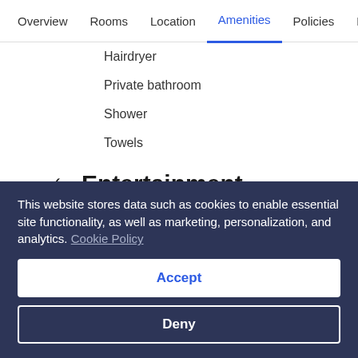Overview  Rooms  Location  Amenities  Policies  R
Hairdryer
Private bathroom
Shower
Towels
✓ Entertainment
Satellite channels
TV
This website stores data such as cookies to enable essential site functionality, as well as marketing, personalization, and analytics. Cookie Policy
Accept
Deny